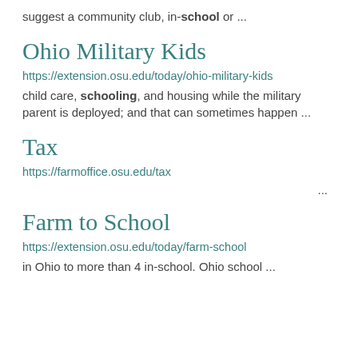suggest a community club, in-school or ...
Ohio Military Kids
https://extension.osu.edu/today/ohio-military-kids
child care, schooling, and housing while the military parent is deployed; and that can sometimes happen ...
Tax
https://farmoffice.osu.edu/tax
...
Farm to School
https://extension.osu.edu/today/farm-school
in Ohio to more than 4 in-school. Ohio school ...